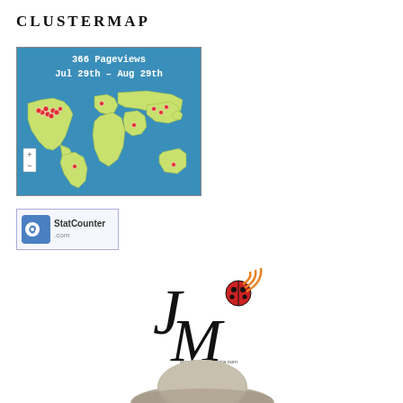CLUSTERMAP
[Figure (map): Clustermap widget showing 366 Pageviews from Jul 29th - Aug 29th on a world map with visitor dot markers clustered in North America, Europe, and Asia-Pacific regions]
[Figure (logo): StatCounter.com logo badge - blue and white button with StatCounter branding]
[Figure (logo): JackieMbonja.com logo - stylized J and M letters with ladybug graphic and www.jackiembonja.com text]
[Figure (photo): Partial photo of a person wearing a gray/khaki wide-brim hat, cropped at bottom edge]